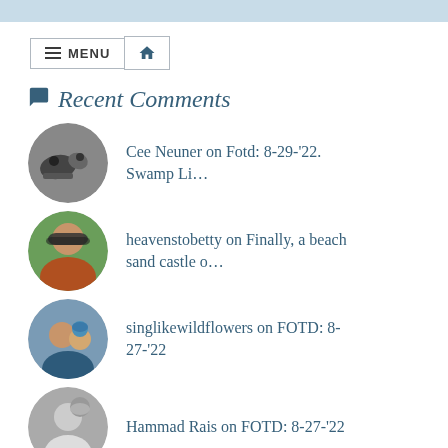Recent Comments
Cee Neuner on Fotd: 8-29-'22. Swamp Li…
heavenstobetty on Finally, a beach sand castle o…
singlikewildflowers on FOTD: 8-27-'22
Hammad Rais on FOTD: 8-27-'22
Linda Schaub on Accidental charge